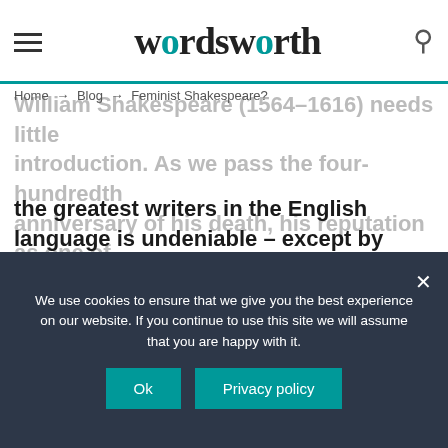wordsworth
William Shakespeare
Home → Blog → Feminist Shakespeare?
the greatest writers in the English language is undeniable – except by those who attribute his works to other writers.
READ MORE
We use cookies to ensure that we give you the best experience on our website. If you continue to use this site we will assume that you are happy with it.
Ok
Privacy policy